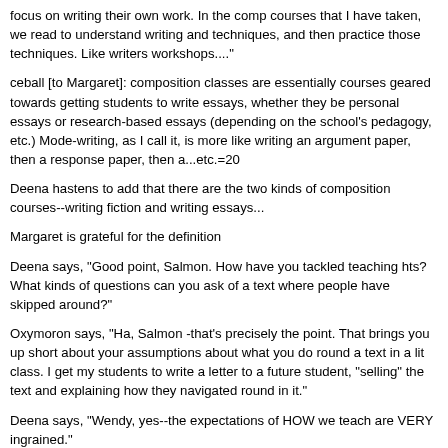focus on writing their own work. In the comp courses that I have taken, we read to understand writing and techniques, and then practice those techniques. Like writers workshops...."
ceball [to Margaret]: composition classes are essentially courses geared towards getting students to write essays, whether they be personal essays or research-based essays (depending on the school's pedagogy, etc.) Mode-writing, as I call it, is more like writing an argument paper, then a response paper, then a...etc.=20
Deena hastens to add that there are the two kinds of composition courses--writing fiction and writing essays...
Margaret is grateful for the definition
Deena says, "Good point, Salmon. How have you tackled teaching hts? What kinds of questions can you ask of a text where people have skipped around?"
Oxymoron says, "Ha, Salmon -that's precisely the point. That brings you up short about your assumptions about what you do round a text in a lit class. I get my students to write a letter to a future student, "selling" the text and explaining how they navigated round in it."
Deena says, "Wendy, yes--the expectations of HOW we teach are VERY ingrained."
Oxymoron says, "And I think that this teaching practice of group discussion leads to a convergent reading of a text, and the perpetuation of a particular way of reading."